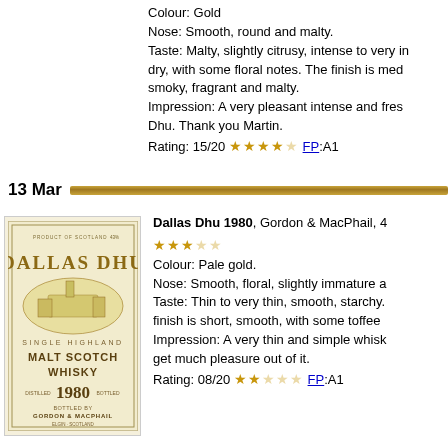Colour: Gold
Nose: Smooth, round and malty.
Taste: Malty, slightly citrusy, intense to very intense, dry, with some floral notes. The finish is medium, smoky, fragrant and malty.
Impression: A very pleasant intense and fresh Dallas Dhu. Thank you Martin.
Rating: 15/20 ★★★★☆ FP:A1
13 Mar
[Figure (photo): Bottle label for Dallas Dhu 1980 Single Highland Malt Scotch Whisky, bottled by Gordon & MacPhail, cream/beige colored label with distillery illustration]
Dallas Dhu 1980, Gordon & MacPhail, 40%
★★★☆☆
Colour: Pale gold.
Nose: Smooth, floral, slightly immature and thin.
Taste: Thin to very thin, smooth, starchy. The finish is short, smooth, with some toffee notes.
Impression: A very thin and simple whisky. Couldn't get much pleasure out of it.
Rating: 08/20 ★★☆☆☆ FP:A1